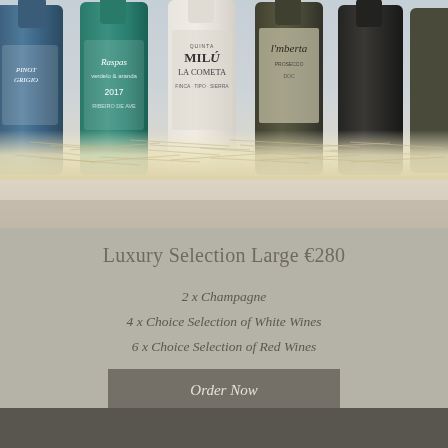[Figure (photo): Photo of multiple wine bottles (Pinot Grigio blue bottle, green Raspas 2017 bottle, Quinta Milu La Cometa bottle, Umberta bottle, and others) nestled in white straw/shredded paper packaging, with a light tan shelf surface below]
Luxury Selection Large €280
2 x Champagne
4 x Choice Selection of White Wines
6 x Choice Selection of Red Wines
Order Now